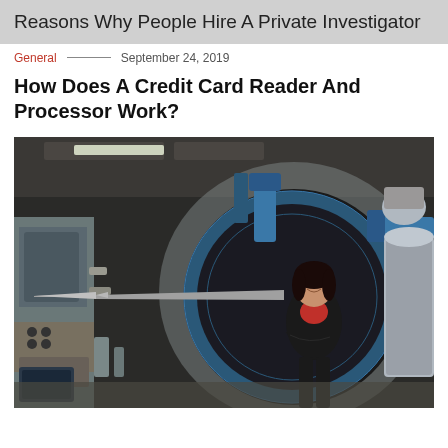Reasons Why People Hire A Private Investigator
General   September 24, 2019
How Does A Credit Card Reader And Processor Work?
[Figure (photo): A woman in a black blazer and red shirt standing with arms crossed in front of a large industrial wind tunnel or aerospace testing machine with blue mechanical components and a long pointed spike/probe extending from a circular opening.]